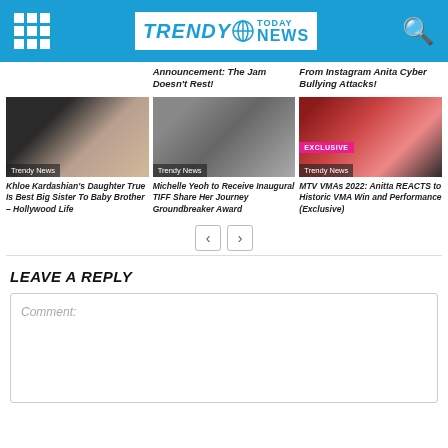TRENDY TODAY NEWS
Announcement: The Jam Doesn't Rest!
From Instagram Anita Cyber Bullying Attacks!
[Figure (photo): Photo of Khloe Kardashian with daughter True, with Trendy News badge overlay]
Khloe Kardashian's Daughter True Is Best Big Sister To Baby Brother – Hollywood Life
[Figure (photo): Photo of Michelle Yeoh, with Trendy News badge overlay]
Michelle Yeoh to Receive Inaugural TIFF Share Her Journey Groundbreaker Award
[Figure (photo): Photo of Anitta with EXCLUSIVE badge and Trendy News badge overlay]
MTV VMAs 2022: Anitta REACTS to Historic VMA Win and Performance (Exclusive)
< >
LEAVE A REPLY
Comment: